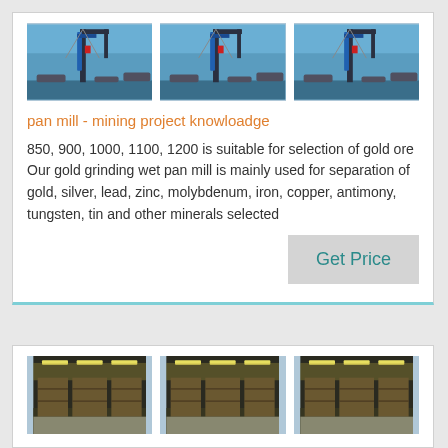[Figure (photo): Three identical photos of industrial crane/mining equipment against blue sky, arranged in a row]
pan mill - mining project knowloadge
850, 900, 1000, 1100, 1200 is suitable for selection of gold ore Our gold grinding wet pan mill is mainly used for separation of gold, silver, lead, zinc, molybdenum, iron, copper, antimony, tungsten, tin and other minerals selected
[Figure (photo): Three identical photos of a warehouse/factory interior with shelving and lighting, arranged in a row]